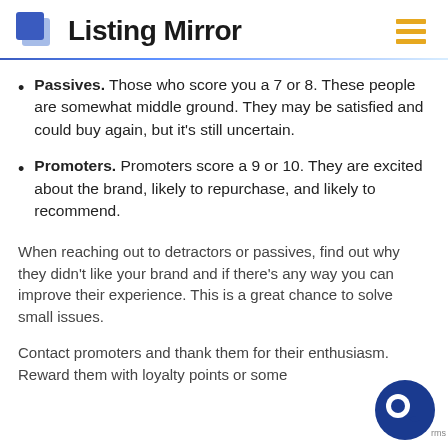Listing Mirror
Passives. Those who score you a 7 or 8. These people are somewhat middle ground. They may be satisfied and could buy again, but it's still uncertain.
Promoters. Promoters score a 9 or 10. They are excited about the brand, likely to repurchase, and likely to recommend.
When reaching out to detractors or passives, find out why they didn't like your brand and if there's any way you can improve their experience. This is a great chance to solve small issues.
Contact promoters and thank them for their enthusiasm. Reward them with loyalty points or some